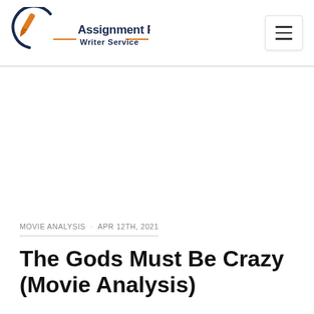[Figure (logo): Assignment Research Writer Service logo with pen icon in orange/gold and dark navy text, orange horizontal rule lines]
MOVIE ANALYSIS · APR 12TH, 2021
The Gods Must Be Crazy (Movie Analysis)